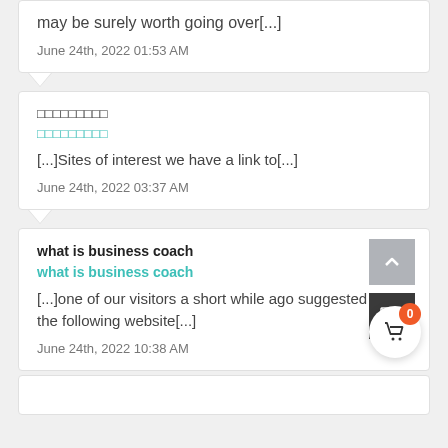may be surely worth going over[...]
June 24th, 2022 01:53 AM
□□□□□□□□□
□□□□□□□□□
[...]Sites of interest we have a link to[...]
June 24th, 2022 03:37 AM
what is business coach
what is business coach
[...]one of our visitors a short while ago suggested the following website[...]
June 24th, 2022 10:38 AM